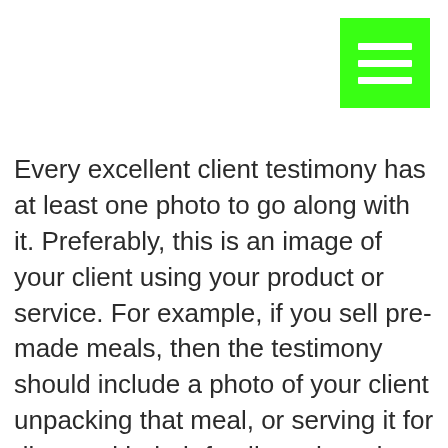[Figure (other): Green hamburger menu button with three white horizontal bars, positioned in the top-right corner]
Every excellent client testimony has at least one photo to go along with it. Preferably, this is an image of your client using your product or service. For example, if you sell pre-made meals, then the testimony should include a photo of your client unpacking that meal, or serving it for dinner with their family gathered around. Or, if you own a yoga studio, then the image could be of the client at the studio, or maybe it's them reaching new heights in other areas of their fitness — demonstrating how your studio has helped them live a more fulfilled life. You can either ask your client to submit a photo or better yet, take the photo yourself! This will give you more control over how the testimony appears